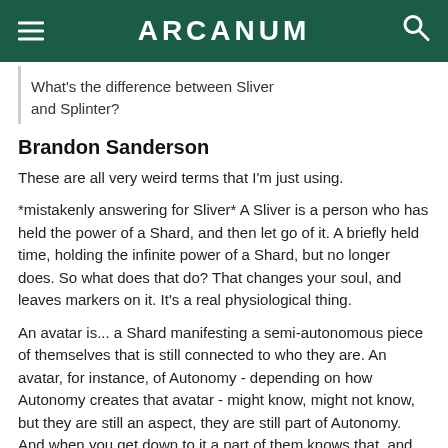ARCANUM
What's the difference between Sliver and Splinter?
Brandon Sanderson
These are all very weird terms that I'm just using.
*mistakenly answering for Sliver* A Sliver is a person who has held the power of a Shard, and then let go of it. A briefly held time, holding the infinite power of a Shard, but no longer does. So what does that do? That changes your soul, and leaves markers on it. It's a real physiological thing.
An avatar is... a Shard manifesting a semi-autonomous piece of themselves that is still connected to who they are. An avatar, for instance, of Autonomy - depending on how Autonomy creates that avatar - might know, might not know, but they are still an aspect, they are still part of Autonomy. And when you get down to it a part of them knows that, and it's almost a god roleplaying, but in a way that only a Shard, or a lowercase-g god in the Cosmere, can do.